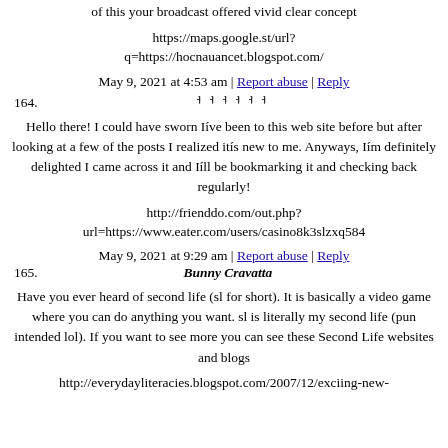of this your broadcast offered vivid clear concept
https://maps.google.st/url?q=https://hocnauancet.blogspot.com/
May 9, 2021 at 4:53 am | Report abuse | Reply
164. ᅥᅥᅥᅥᅥᅥ
Hello there! I could have sworn Iíve been to this web site before but after looking at a few of the posts I realized itís new to me. Anyways, Iím definitely delighted I came across it and Iíll be bookmarking it and checking back regularly!
http://frienddo.com/out.php?url=https://www.eater.com/users/casino8k3slzxq584
May 9, 2021 at 9:29 am | Report abuse | Reply
165. Bunny Cravatta
Have you ever heard of second life (sl for short). It is basically a video game where you can do anything you want. sl is literally my second life (pun intended lol). If you want to see more you can see these Second Life websites and blogs
http://everydayliteracies.blogspot.com/2007/12/exciing-new-